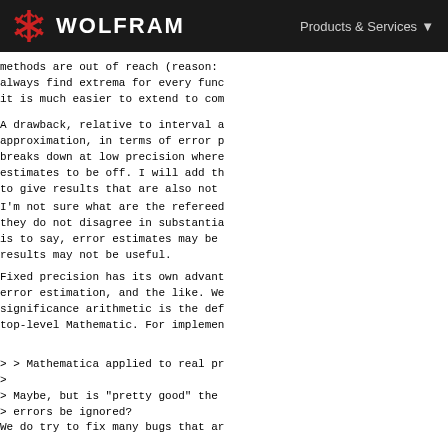WOLFRAM | Products & Services
methods are out of reach (reason: always find extrema for every func it is much easier to extend to com
A drawback, relative to interval a approximation, in terms of error p breaks down at low precision where estimates to be off. I will add th to give results that are also not
I'm not sure what are the refereed they do not disagree in substantia is to say, error estimates may be results may not be useful.
Fixed precision has its own advant error estimation, and the like. We significance arithmetic is the def top-level Mathematic. For implemen
> > Mathematica applied to real pr
>
> Maybe, but is "pretty good"  the
> errors be ignored?

We do try to fix many bugs that ar